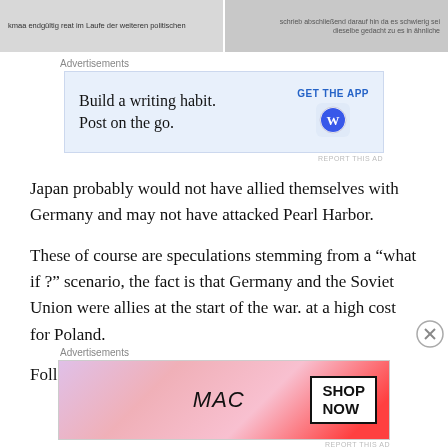[Figure (screenshot): Two side-by-side images at the top of the page, showing text snippets in German/document style on a gray background]
Advertisements
[Figure (screenshot): WordPress ad: Build a writing habit. Post on the go. GET THE APP with WordPress icon on blue background]
Japan probably would not have allied themselves with Germany and may not have attacked Pearl Harbor.
These of course are speculations stemming from a “what if ?” scenario, the fact is that Germany and the Soviet Union were allies at the start of the war. at a high cost for Poland.
Following are some impression on how that Soviet -
Advertisements
[Figure (screenshot): MAC cosmetics advertisement showing lipsticks with SHOP NOW box]